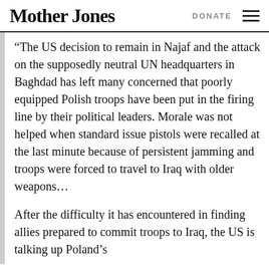Mother Jones  DONATE
“The US decision to remain in Najaf and the attack on the supposedly neutral UN headquarters in Baghdad has left many concerned that poorly equipped Polish troops have been put in the firing line by their political leaders. Morale was not helped when standard issue pistols were recalled at the last minute because of persistent jamming and troops were forced to travel to Iraq with older weapons…
After the difficulty it has encountered in finding allies prepared to commit troops to Iraq, the US is talking up Poland’s